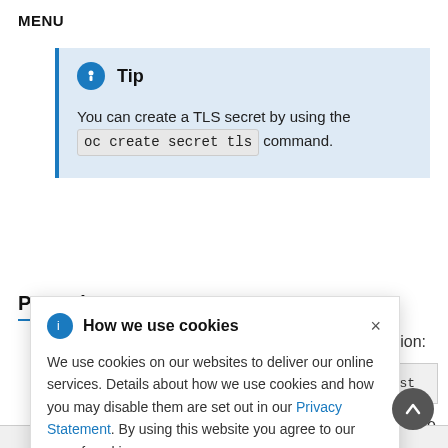MENU
Tip
You can create a TLS secret by using the oc create secret tls command.
Procedure
ion:
t.io clust
nally the
How we use cookies
We use cookies on our websites to deliver our online services. Details about how we use cookies and how you may disable them are set out in our Privacy Statement. By using this website you agree to our use of cookies.